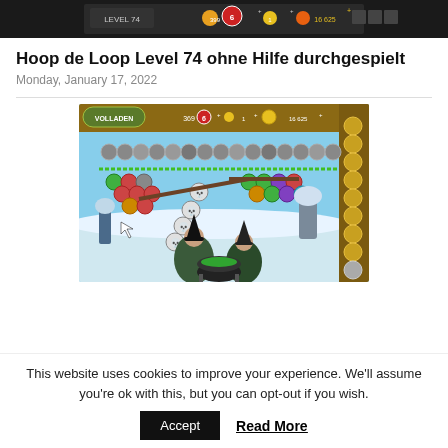[Figure (screenshot): Top screenshot of Hoop de Loop Level 74 game UI showing dark header bar with LEVEL 74 text and game controls]
Hoop de Loop Level 74 ohne Hilfe durchgespielt
Monday, January 17, 2022
[Figure (screenshot): Hoop de Loop game screenshot showing bubble shooter gameplay with colorful balls, winter witch scene background, and side panel with golden balls]
This website uses cookies to improve your experience. We'll assume you're ok with this, but you can opt-out if you wish.